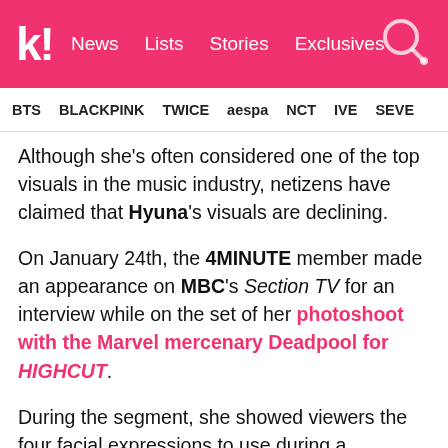k! News  Lists  Stories  Exclusives
BTS  BLACKPINK  TWICE  aespa  NCT  IVE  SEVE
Although she's often considered one of the top visuals in the music industry, netizens have claimed that Hyuna's visuals are declining.
On January 24th, the 4MINUTE member made an appearance on MBC's Section TV for an interview while on the set of her photoshoot with the Marvel mercenary Deadpool for HIGHCUT.
During the segment, she showed viewers the four facial expressions to use during a photoshoot: innocent, sexy, cute, and proud.
After...